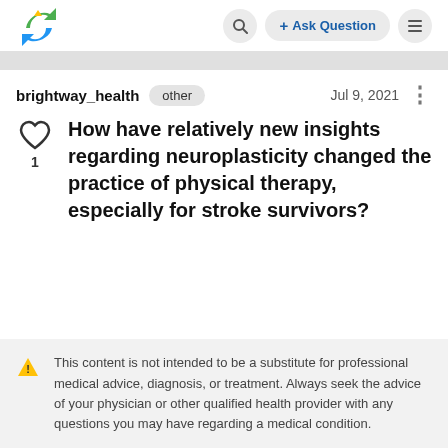brightway_health Q + Ask Question ≡
brightway_health  other  Jul 9, 2021
How have relatively new insights regarding neuroplasticity changed the practice of physical therapy, especially for stroke survivors?
This content is not intended to be a substitute for professional medical advice, diagnosis, or treatment. Always seek the advice of your physician or other qualified health provider with any questions you may have regarding a medical condition.